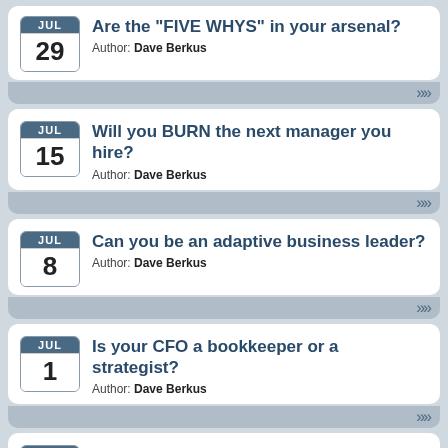Are the 'FIVE WHYS' in your arsenal? Author: Dave Berkus — JUL 29
Will you BURN the next manager you hire? Author: Dave Berkus — JUL 15
Can you be an adaptive business leader? Author: Dave Berkus — JUL 8
Is your CFO a bookkeeper or a strategist? Author: Dave Berkus — JUL 1
Three qualities of a great leader — JUN